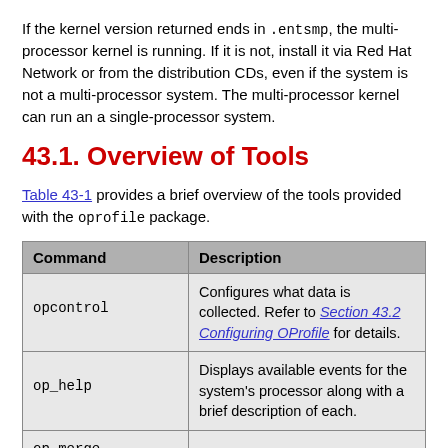If the kernel version returned ends in .entsmp, the multi-processor kernel is running. If it is not, install it via Red Hat Network or from the distribution CDs, even if the system is not a multi-processor system. The multi-processor kernel can run an a single-processor system.
43.1. Overview of Tools
Table 43-1 provides a brief overview of the tools provided with the oprofile package.
| Command | Description |
| --- | --- |
| opcontrol | Configures what data is collected. Refer to Section 43.2 Configuring OProfile for details. |
| op_help | Displays available events for the system's processor along with a brief description of each. |
| op_merge |  |